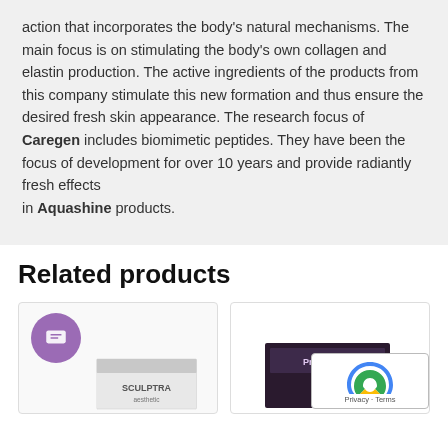action that incorporates the body's natural mechanisms. The main focus is on stimulating the body's own collagen and elastin production. The active ingredients of the products from this company stimulate this new formation and thus ensure the desired fresh skin appearance. The research focus of Caregen includes biomimetic peptides. They have been the focus of development for over 10 years and provide radiantly fresh effects in Aquashine products.
Related products
[Figure (photo): Product card showing Sculptra box with a purple chat bubble icon in the top left corner]
[Figure (photo): Product card showing Juvederm/Profhilo dark box packaging, partially obscured by reCAPTCHA overlay]